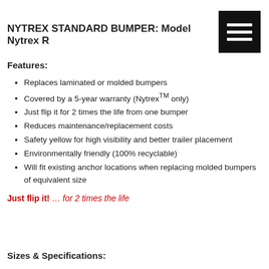NYTREX STANDARD BUMPER: Model Nytrex R
[Figure (other): Black hamburger menu icon with three white horizontal bars on black background]
Features:
Replaces laminated or molded bumpers
Covered by a 5-year warranty (Nytrex™ only)
Just flip it for 2 times the life from one bumper
Reduces maintenance/replacement costs
Safety yellow for high visibility and better trailer placement
Environmentally friendly (100% recyclable)
Will fit existing anchor locations when replacing molded bumpers of equivalent size
Just flip it! … for 2 times the life
Sizes & Specifications: